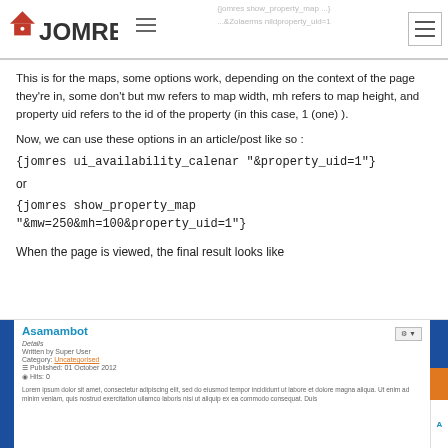JOMRES — {jomres show_property_map ...} / {jomres ui_availability_calenar ...&property_uid=1}
This is for the maps, some options work, depending on the context of the page they're in, some don't but mw refers to map width, mh refers to map height, and property uid refers to the id of the property (in this case, 1 (one) ).
Now, we can use these options in an article/post like so :
{jomres ui_availability_calenar "&property_uid=1"}
or
{jomres show_property_map "&mw=250&mh=100&property_uid=1"}
When the page is viewed, the final result looks like
[Figure (screenshot): Screenshot of a Joomla article page titled 'Asamambot' showing article details: Written by Super User, Category: Uncategorised, Published: 01 October 2012, Hits: 0, with Lorem ipsum body text. Has blue left bar, settings gear button, and colored right sidebar.]